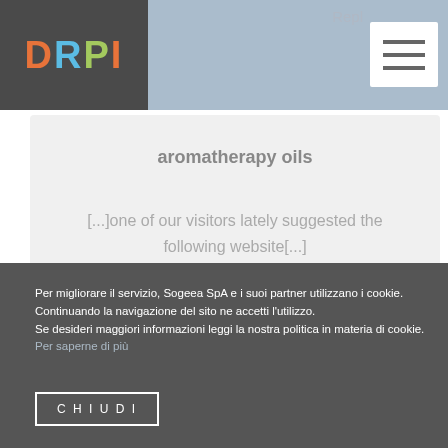DRPI
aromatherapy oils
[...]one of our visitors lately suggested the following website[...]
Per migliorare il servizio, Sogeea SpA e i suoi partner utilizzano i cookie. Continuando la navigazione del sito ne accetti l'utilizzo.
Se desideri maggiori informazioni leggi la nostra politica in materia di cookie. Per saperne di più
CHIUDI